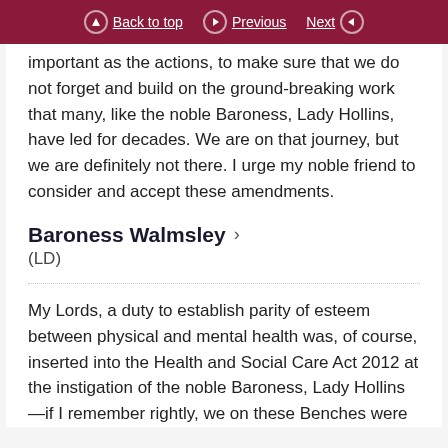Back to top | Previous | Next
The words in this group of amendments are just as important as the actions, to make sure that we do not forget and build on the ground-breaking work that many, like the noble Baroness, Lady Hollins, have led for decades. We are on that journey, but we are definitely not there. I urge my noble friend to consider and accept these amendments.
Baroness Walmsley
(LD)
My Lords, a duty to establish parity of esteem between physical and mental health was, of course, inserted into the Health and Social Care Act 2012 at the instigation of the noble Baroness, Lady Hollins—if I remember rightly, we on these Benches were